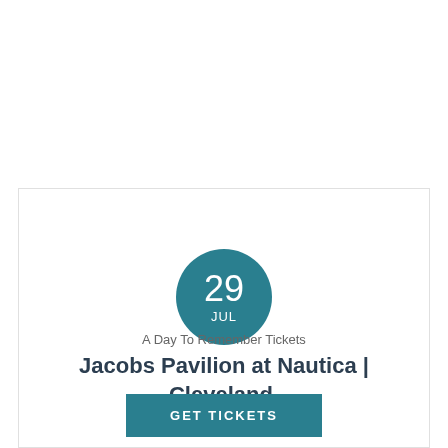[Figure (infographic): Teal circular date badge showing '29' and 'JUL' in white text on a teal/dark cyan circle background]
A Day To Remember Tickets
Jacobs Pavilion at Nautica | Cleveland, OH
GET TICKETS